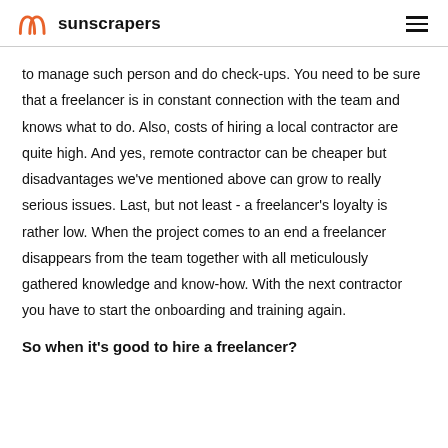sunscrapers
to manage such person and do check-ups. You need to be sure that a freelancer is in constant connection with the team and knows what to do. Also, costs of hiring a local contractor are quite high. And yes, remote contractor can be cheaper but disadvantages we've mentioned above can grow to really serious issues. Last, but not least - a freelancer's loyalty is rather low. When the project comes to an end a freelancer disappears from the team together with all meticulously gathered knowledge and know-how. With the next contractor you have to start the onboarding and training again.
So when it's good to hire a freelancer?